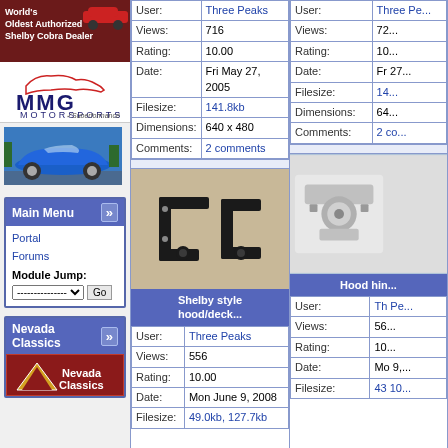[Figure (photo): Red advertisement banner: World's Oldest Authorized Shelby Cobra Dealer with car image]
[Figure (logo): MMG Motorsports Superformance logo]
[Figure (photo): Blue Shelby Cobra car photo]
Main Menu
Portal
Forums
Module Jump:
Nevada Classics
[Figure (logo): Nevada Classics logo red background]
| Field | Value |
| --- | --- |
| User: | Three Peaks |
| Views: | 716 |
| Rating: | 10.00 |
| Date: | Fri May 27, 2005 |
| Filesize: | 141.8kb |
| Dimensions: | 640 x 480 |
| Comments: | 2 comments |
| Field | Value |
| --- | --- |
| User: | Three Peaks |
| Views: | 72 |
| Rating: | 10 |
| Date: | Fr 27 |
| Filesize: | 14... |
| Dimensions: | 64... |
| Comments: | 2 co... |
[Figure (photo): Black hood hinge bracket parts on tan background]
[Figure (photo): Chrome hood hinge hardware on white background (partially visible)]
Shelby style hood/deck...
Hood hin...
| Field | Value |
| --- | --- |
| User: | Three Peaks |
| Views: | 556 |
| Rating: | 10.00 |
| Date: | Mon June 9, 2008 |
| Filesize: | 49.0kb, 127.7kb |
| Field | Value |
| --- | --- |
| User: | Th Pe... |
| Views: | 56 |
| Rating: | 10 |
| Date: | Mo 9, |
| Filesize: | 43 10... |
[Figure (photo): Partially visible right-side gallery image]